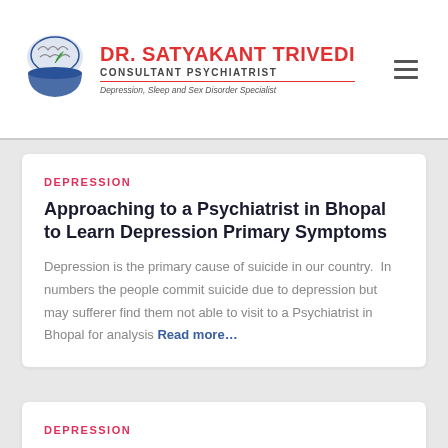DR. SATYAKANT TRIVEDI | CONSULTANT PSYCHIATRIST | Depression, Sleep and Sex Disorder Specialist
DEPRESSION
Approaching to a Psychiatrist in Bhopal to Learn Depression Primary Symptoms
Depression is the primary cause of suicide in our country.  In numbers the people commit suicide due to depression but may sufferer find them not able to visit to a Psychiatrist in Bhopal for analysis Read more…
DEPRESSION
Learn Everything about Depression & Its